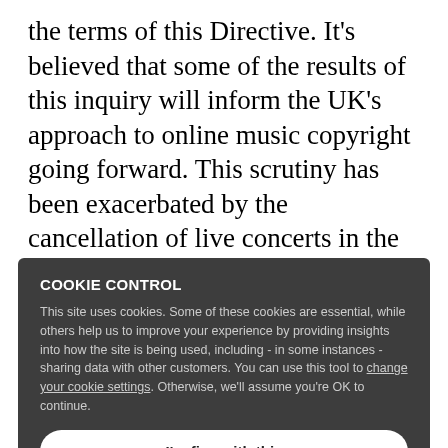the terms of this Directive. It's believed that some of the results of this inquiry will inform the UK's approach to online music copyright going forward. This scrutiny has been exacerbated by the cancellation of live concerts in the wake of the pandemic, and the simultaneous loss of the most
dependable source of income for artists. As a result, their main source of income is now from streaming.
A recent streaming campaign, driven by Murray, Mercury prize-winner and director of the
COOKIE CONTROL
This site uses cookies. Some of these cookies are essential, while others help us to improve your experience by providing insights into how the site is being used, including - in some instances - sharing data with other customers. You can use this tool to change your cookie settings. Otherwise, we'll assume you're OK to continue.
I'm fine with this
More details
He attributes the name of his campaign to the fact that the music industry's discontent surrounding streaming has always been apparent